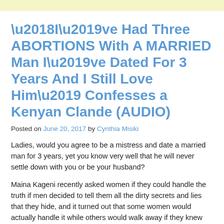'I've Had Three ABORTIONS With A MARRIED Man I've Dated For 3 Years And I Still Love Him' Confesses a Kenyan Clande (AUDIO)
Posted on June 20, 2017 by Cynthia Misiki
Ladies, would you agree to be a mistress and date a married man for 3 years, yet you know very well that he will never settle down with you or be your husband?
Maina Kageni recently asked women if they could handle the truth if men decided to tell them all the dirty secrets and lies that they hide, and it turned out that some women would actually handle it while others would walk away if they knew the truth.
Interestingly, some women came out to tell Maina Kageni that they have more dirt than their husbands, with one particular one even